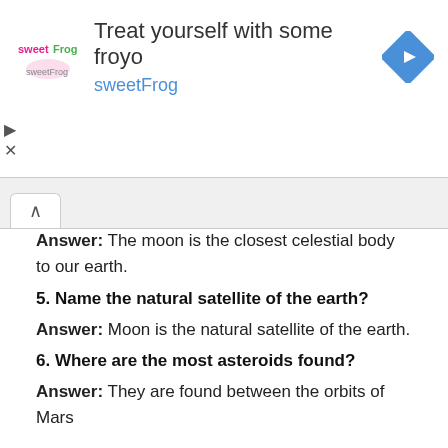[Figure (other): sweetFrog frozen yogurt advertisement banner with logo, text 'Treat yourself with some froyo sweetFrog', and navigation icon]
Answer: The moon is the closest celestial body to our earth.
5. Name the natural satellite of the earth?
Answer: Moon is the natural satellite of the earth.
6. Where are the most asteroids found?
Answer: They are found between the orbits of Mars